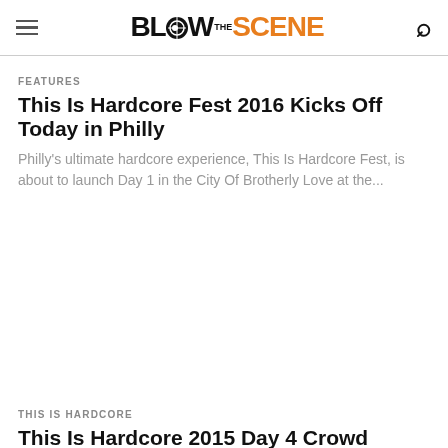BLOW THE SCENE
FEATURES
This Is Hardcore Fest 2016 Kicks Off Today in Philly
Philly's ultimate hardcore experience, This Is Hardcore Fest, is about to launch Day 1 in the City Of Brotherly Love at the...
THIS IS HARDCORE
This Is Hardcore 2015 Day 4 Crowd Candids and